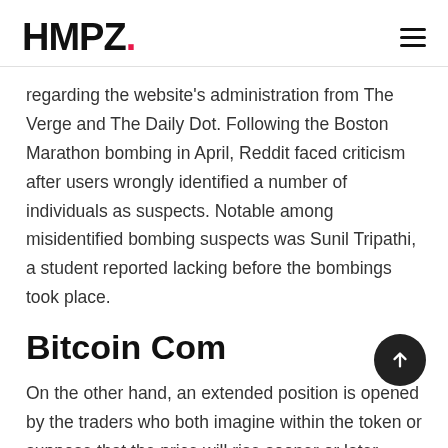HMPZ.
regarding the website's administration from The Verge and The Daily Dot. Following the Boston Marathon bombing in April, Reddit faced criticism after users wrongly identified a number of individuals as suspects. Notable among misidentified bombing suspects was Sunil Tripathi, a student reported lacking before the bombings took place.
Bitcoin Com
On the other hand, an extended position is opened by the traders who both imagine within the token or suppose that the price will rise sooner or later. Once you could have a correct understanding of how both quick and long positions work, you will be in a significantly better position